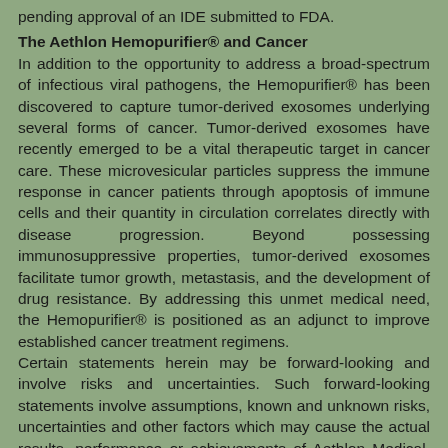pending approval of an IDE submitted to FDA.
The Aethlon Hemopurifier® and Cancer
In addition to the opportunity to address a broad-spectrum of infectious viral pathogens, the Hemopurifier® has been discovered to capture tumor-derived exosomes underlying several forms of cancer. Tumor-derived exosomes have recently emerged to be a vital therapeutic target in cancer care. These microvesicular particles suppress the immune response in cancer patients through apoptosis of immune cells and their quantity in circulation correlates directly with disease progression. Beyond possessing immunosuppressive properties, tumor-derived exosomes facilitate tumor growth, metastasis, and the development of drug resistance. By addressing this unmet medical need, the Hemopurifier® is positioned as an adjunct to improve established cancer treatment regimens.
Certain statements herein may be forward-looking and involve risks and uncertainties. Such forward-looking statements involve assumptions, known and unknown risks, uncertainties and other factors which may cause the actual results, performance or achievements of Aethlon Medical, Inc. to be materially different from any future results.